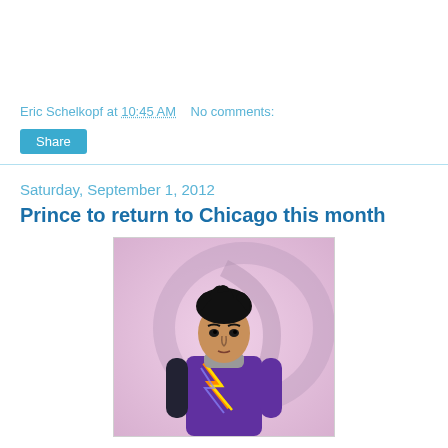Eric Schelkopf at 10:45 AM   No comments:
Share
Saturday, September 1, 2012
Prince to return to Chicago this month
[Figure (photo): Promotional photo of Prince wearing a purple outfit with colorful lightning-bolt design, standing in front of a large stylized symbol on a pink/purple gradient background.]